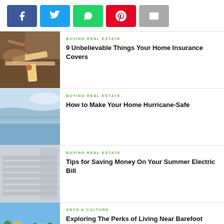[Figure (infographic): Social media share buttons: Facebook, Twitter, WhatsApp, Pinterest, Email]
[Figure (photo): Person measuring wood with a tape measure, carpentry/construction scene]
BUYING REAL ESTATE
9 Unbelievable Things Your Home Insurance Covers
[Figure (photo): Ocean or lake water scene, calm water with distant horizon]
BUYING REAL ESTATE
How to Make Your Home Hurricane-Safe
[Figure (photo): Close-up of air conditioning unit vents]
BUYING REAL ESTATE
Tips for Saving Money On Your Summer Electric Bill
[Figure (photo): Coastal town or beach resort with buildings and blue sky]
ARTS & CULTURE
Exploring The Perks of Living Near Barefoot Landing